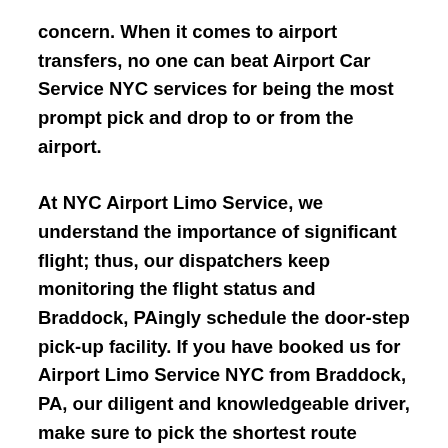concern. When it comes to airport transfers, no one can beat Airport Car Service NYC services for being the most prompt pick and drop to or from the airport.
At NYC Airport Limo Service, we understand the importance of significant flight; thus, our dispatchers keep monitoring the flight status and Braddock, PAingly schedule the door-step pick-up facility. If you have booked us for Airport Limo Service NYC from Braddock, PA, our diligent and knowledgeable driver, make sure to pick the shortest route possible for your convenient and timely transit.
The highly skilled and talented chauffeur of luxury...